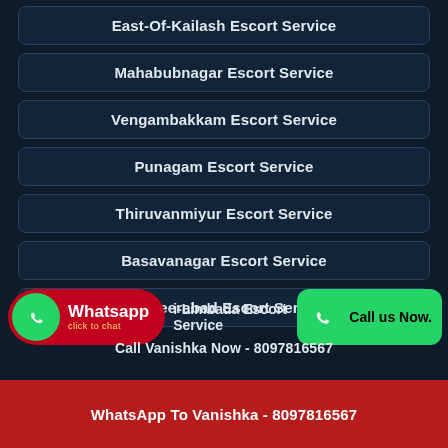East-Of-Kailash Escort Service
Mahabubnagar Escort Service
Vengambakkam Escort Service
Punagam Escort Service
Thiruvanmiyur Escort Service
Basavanagar Escort Service
Musheerabad Escort Service
-Limbada Escort Service
Call Vanishka Now - 8097816567
WhatsApp To Vanishka - 8097816567